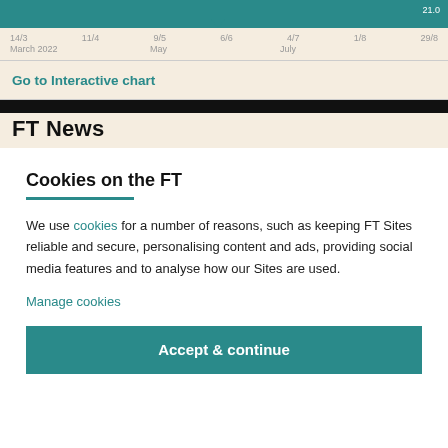[Figure (continuous-plot): Top portion of a time-series area/line chart with teal background, showing data from March 2022 to 29/8. X-axis labels: 14/3, 11/4, 9/5, 6/6, 4/7, 1/8, 29/8. Month labels: March 2022, May, July.]
Go to Interactive chart
FT News
Cookies on the FT
We use cookies for a number of reasons, such as keeping FT Sites reliable and secure, personalising content and ads, providing social media features and to analyse how our Sites are used.
Manage cookies
Accept & continue